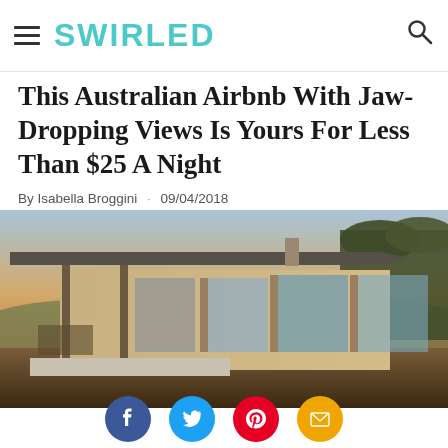SWIRLED
This Australian Airbnb With Jaw-Dropping Views Is Yours For Less Than $25 A Night
By Isabella Broggini · 09/04/2018
[Figure (photo): Exterior photo of an Australian Airbnb house at dusk, showing a modern single-story home with a covered porch, large glass sliding doors, and rolling hills in the background.]
[Figure (infographic): Social sharing icons row: Facebook (blue circle), Twitter (light blue circle), Pinterest (red circle), Email (orange/yellow circle)]